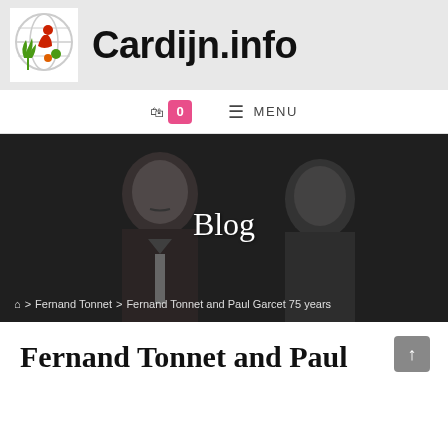[Figure (logo): Cardijn.info website header banner with globe logo and site name in bold black text]
🛒 0  ☰ MENU
[Figure (photo): Black and white photo of two men (Fernand Tonnet and Paul Garcet) with 'Blog' text overlay and breadcrumb navigation]
Fernand Tonnet and Paul